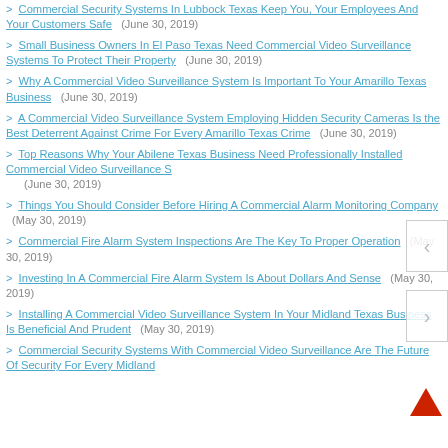> Commercial Security Systems In Lubbock Texas Keep You, Your Employees And Your Customers Safe (June 30, 2019)
> Small Business Owners In El Paso Texas Need Commercial Video Surveillance Systems To Protect Their Property (June 30, 2019)
> Why A Commercial Video Surveillance System Is Important To Your Amarillo Texas Business (June 30, 2019)
> A Commercial Video Surveillance System Employing Hidden Security Cameras Is the Best Deterrent Against Crime For Every Amarillo Texas Crime (June 30, 2019)
> Top Reasons Why Your Abilene Texas Business Need Professionally Installed Commercial Video Surveillance S (June 30, 2019)
> Things You Should Consider Before Hiring A Commercial Alarm Monitoring Company (May 30, 2019)
> Commercial Fire Alarm System Inspections Are The Key To Proper Operation (May 30, 2019)
> Investing In A Commercial Fire Alarm System Is About Dollars And Sense (May 30, 2019)
> Installing A Commercial Video Surveillance System In Your Midland Texas Business Is Beneficial And Prudent (May 30, 2019)
> Commercial Security Systems With Commercial Video Surveillance Are The Future Of Security For Every Midland